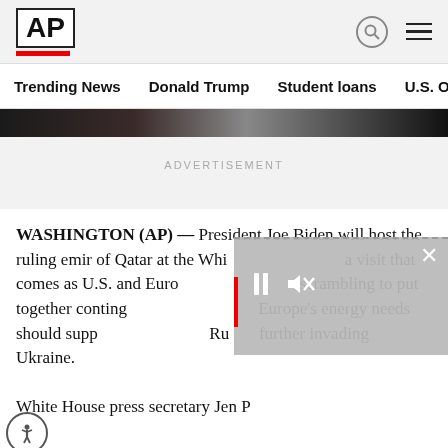AP
Trending News | Donald Trump | Student loans | U.S. Open Tenn
ADVERTISEMENT
WASHINGTON (AP) — President Joe Biden will host the ruling emir of Qatar at the White House on Monday, a visit that comes as U.S. and European officials are scrambling to put together contingency plans to meet Europe's energy needs should supplies be cut off if Russia further invading Ukraine.

White House press secretary Jen P[...]